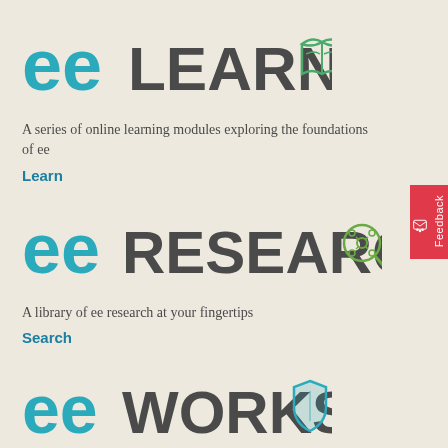[Figure (logo): eeLEARN logo with book icon — 'ee' in teal/green, 'LEARN' in dark gray, open book icon in teal/green]
A series of online learning modules exploring the foundations of ee
Learn
[Figure (logo): eeRESEARCH logo with magnifier/network icon — 'ee' in teal/green, 'RESEARCH' in dark gray, circular network magnifier icon]
A library of ee research at your fingertips
Search
[Figure (logo): eeWORKS logo with shield icon — 'ee' in teal/green, 'WORKS' in dark gray, shield icon in teal/green]
Research reviews and tools illustrating the many benefits of ee
View